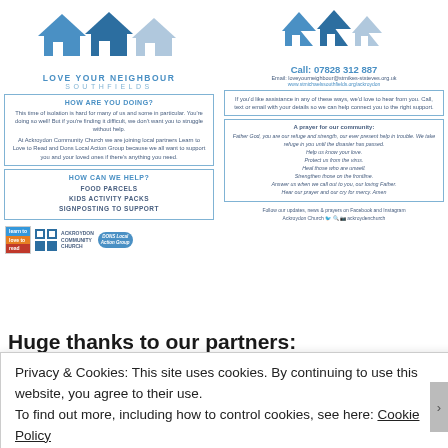[Figure (logo): Love Your Neighbour Southfields logo with three house icons (two blue, one grey) and text 'LOVE YOUR NEIGHBOUR SOUTHFIELDS']
HOW ARE YOU DOING?
This time of isolation is hard for many of us and some in particular. You're doing so well! But if you're finding it difficult, we don't want you to struggle without help.
At Ackroydon Community Church we are joining local partners Learn to Love to Read and Dons Local Action Group because we all want to support you and your loved ones if there's anything you need.
HOW CAN WE HELP?
FOOD PARCELS
KIDS ACTIVITY PACKS
SIGNPOSTING TO SUPPORT
[Figure (logo): Partner logos: Learn to Love to Read badge, Ackroydon Community Church logo, Dons Local Action Group badge]
[Figure (logo): Three house icons (two blue, one grey) for Love Your Neighbour Southfields right side]
Call: 07828 312 887
Email: loveyourneighbour@stmikes-ststeves.org.uk
www.stmichaelssouthfields.org/ackroydon
If you'd like assistance in any of these ways, we'd love to hear from you. Call, text or email with your details so we can help connect you to the right support.
A prayer for our community:
Father God, you are our refuge and strength, our ever present help in trouble. We take refuge in you until the disaster has passed.
Help us know your love.
Protect us from the virus.
Heal those who are unwell.
Strengthen those on the frontline.
Answer us when we call out to you, our loving Father.
Hear our prayer and our cry for mercy. Amen
Follow our updates, news & prayers on Facebook and Instagram
Ackroydon Church [Facebook] [Search] [Instagram] ackroydenchurch
Huge thanks to our partners:
Privacy & Cookies: This site uses cookies. By continuing to use this website, you agree to their use.
To find out more, including how to control cookies, see here: Cookie Policy
Close and accept